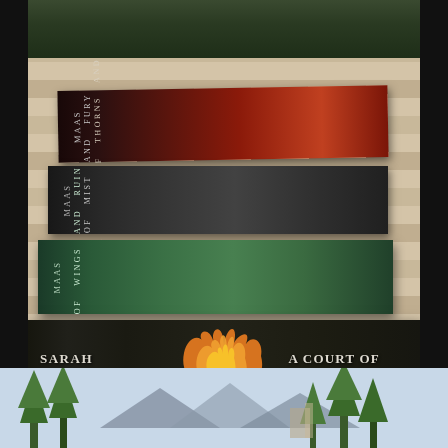[Figure (photo): A photograph showing four stacked books from the 'A Court of Thorns and Roses' series by Sarah J. Maas, displayed spine-out on a wooden surface. From top to bottom: 'A Court of Thorns and Roses' (red/black spine), 'A Court of Mist and Fury' (dark grey/black spine), 'A Court of Wings and Ruin' (teal/green spine), and 'A Court of Silver Flames' (dark with orange flame design spine, author name 'SARAH J. MAAS' on left side, title 'A COURT OF SILVER FLAMES' on right side). A nature scene with trees and mountains is partially visible at the bottom.]